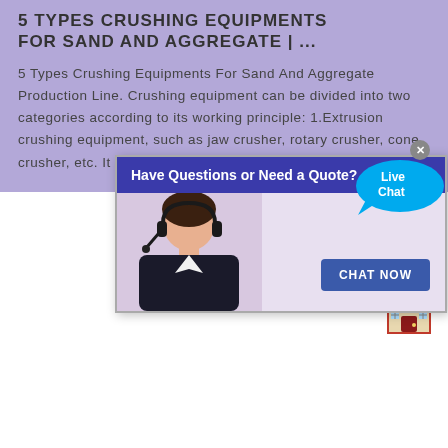5 TYPES CRUSHING EQUIPMENTS FOR SAND AND AGGREGATE | ...
5 Types Crushing Equipments For Sand And Aggregate Production Line. Crushing equipment can be divided into two categories according to its working principle: 1.Extrusion crushing equipment, such as jaw crusher, rotary crusher, cone crusher, etc. It is suitable for materials with high abrasion...
[Figure (screenshot): A chat popup overlay with header 'Have Questions or Need a Quote?', a customer service representative photo, and a 'CHAT NOW' button. A 'Live Chat' speech bubble appears in the top-right corner of the popup.]